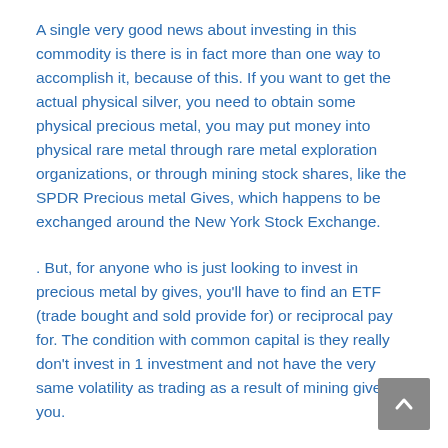A single very good news about investing in this commodity is there is in fact more than one way to accomplish it, because of this. If you want to get the actual physical silver, you need to obtain some physical precious metal, you may put money into physical rare metal through rare metal exploration organizations, or through mining stock shares, like the SPDR Precious metal Gives, which happens to be exchanged around the New York Stock Exchange.
. But, for anyone who is just looking to invest in precious metal by gives, you'll have to find an ETF (trade bought and sold provide for) or reciprocal pay for. The condition with common capital is they really don't invest in 1 investment and not have the very same volatility as trading as a result of mining gives you.
Several traders select to purchase platinum by way of prospecting stocks simply because they're cheaper. Some shareholders prefer to fund gold through exploration shares, so